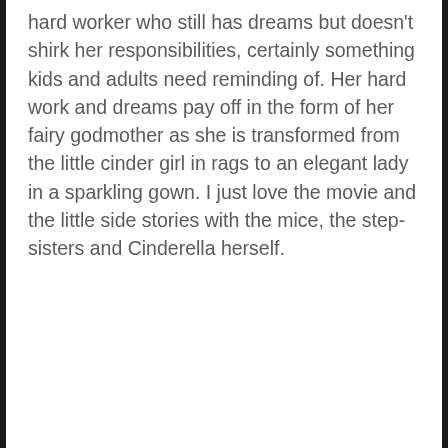hard worker who still has dreams but doesn't shirk her responsibilities, certainly something kids and adults need reminding of. Her hard work and dreams pay off in the form of her fairy godmother as she is transformed from the little cinder girl in rags to an elegant lady in a sparkling gown. I just love the movie and the little side stories with the mice, the step-sisters and Cinderella herself.